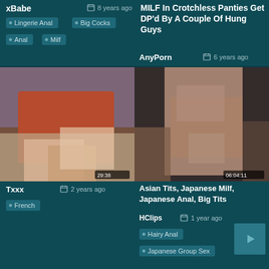xBabe
8 years ago
Lingerie Anal
Big Cocks
Anal
Milf
MILF In Crotchless Panties Get DP'd By A Couple Of Hung Guys
AnyPorn
6 years ago
[Figure (photo): Video thumbnail showing two women on a bed, one in red clothing]
29:38
Txxx
2 years ago
French
[Figure (photo): Video thumbnail showing an Asian woman restrained]
06:04:11
Asian Tits, Japanese Milf, Japanese Anal, Big Tits
HClips
1 year ago
Hairy Anal
Japanese Group Sex